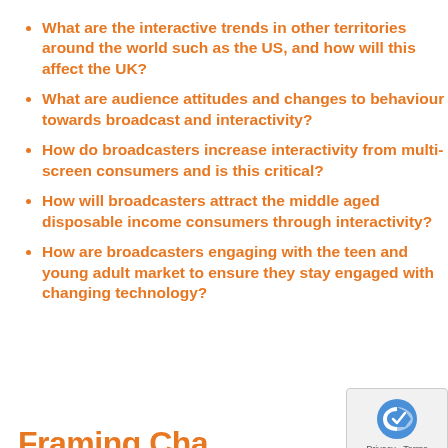What are the interactive trends in other territories around the world such as the US, and how will this affect the UK?
What are audience attitudes and changes to behaviour towards broadcast and interactivity?
How do broadcasters increase interactivity from multi-screen consumers and is this critical?
How will broadcasters attract the middle aged disposable income consumers through interactivity?
How are broadcasters engaging with the teen and young adult market to ensure they stay engaged with changing technology?
Framing Cha…